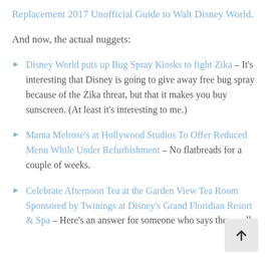Replacement 2017 Unofficial Guide to Walt Disney World.
And now, the actual nuggets:
Disney World puts up Bug Spray Kiosks to fight Zika – It's interesting that Disney is going to give away free bug spray because of the Zika threat, but that it makes you buy sunscreen. (At least it's interesting to me.)
Mama Melrose's at Hollywood Studios To Offer Reduced Menu While Under Refurbishment – No flatbreads for a couple of weeks.
Celebrate Afternoon Tea at the Garden View Tea Room Sponsored by Twinings at Disney's Grand Floridian Resort & Spa – Here's an answer for someone who says they really